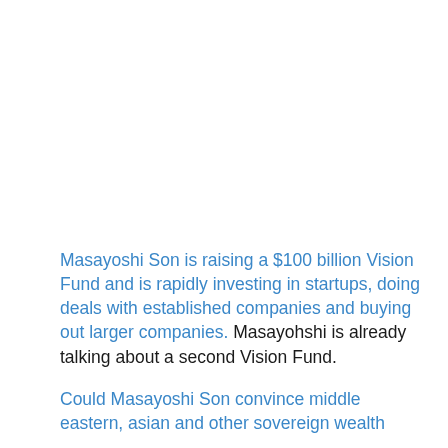Masayoshi Son is raising a $100 billion Vision Fund and is rapidly investing in startups, doing deals with established companies and buying out larger companies. Masayohshi is already talking about a second Vision Fund.
Could Masayoshi Son convince middle eastern, asian and other sovereign wealth